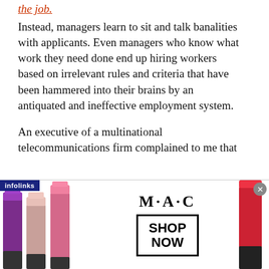Instead, managers learn to sit and talk banalities with applicants. Even managers who know what work they need done end up hiring workers based on irrelevant rules and criteria that have been hammered into their brains by an antiquated and ineffective employment system.
An executive of a multinational telecommunications firm complained to me that his company keeps making the same mistake. “We hire based on personality,” he said. “More specifically
[Figure (photo): MAC Cosmetics advertisement banner showing lipsticks, MAC logo, and SHOP NOW button with infolinks badge and close button]